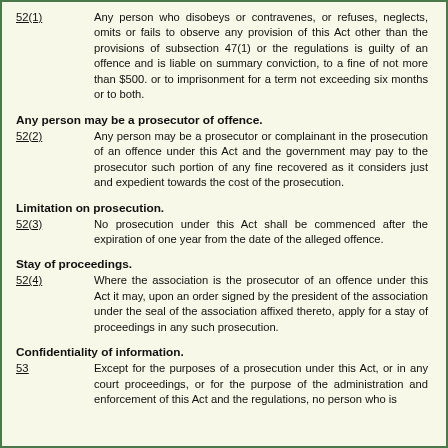52(1) Any person who disobeys or contravenes, or refuses, neglects, omits or fails to observe any provision of this Act other than the provisions of subsection 47(1) or the regulations is guilty of an offence and is liable on summary conviction, to a fine of not more than $500. or to imprisonment for a term not exceeding six months or to both.
Any person may be a prosecutor of offence.
52(2) Any person may be a prosecutor or complainant in the prosecution of an offence under this Act and the government may pay to the prosecutor such portion of any fine recovered as it considers just and expedient towards the cost of the prosecution.
Limitation on prosecution.
52(3) No prosecution under this Act shall be commenced after the expiration of one year from the date of the alleged offence.
Stay of proceedings.
52(4) Where the association is the prosecutor of an offence under this Act it may, upon an order signed by the president of the association under the seal of the association affixed thereto, apply for a stay of proceedings in any such prosecution.
Confidentiality of information.
53 Except for the purposes of a prosecution under this Act, or in any court proceedings, or for the purpose of the administration and enforcement of this Act and the regulations, no person who is...